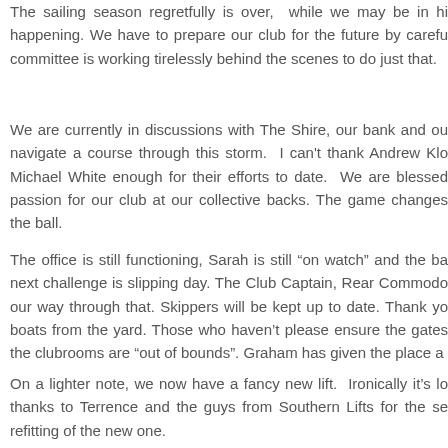The sailing season regretfully is over, while we may be in happening. We have to prepare our club for the future by carefully committee is working tirelessly behind the scenes to do just that.
We are currently in discussions with The Shire, our bank and our navigate a course through this storm.  I can't thank Andrew Klo Michael White enough for their efforts to date.  We are blessed passion for our club at our collective backs. The game changes the ball.
The office is still functioning, Sarah is still “on watch” and the ba next challenge is slipping day. The Club Captain, Rear Commodo our way through that. Skippers will be kept up to date. Thank yo boats from the yard. Those who haven’t please ensure the gates the clubrooms are “out of bounds”. Graham has given the place a
On a lighter note, we now have a fancy new lift.  Ironically it’s lo thanks to Terrence and the guys from Southern Lifts for the se refitting of the new one.
I am reminded of words from a Joni Mitchell song from the 70 probably never heard it).